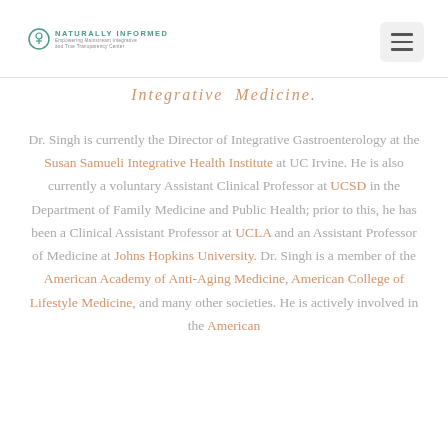NATURALLY INFORMED — Empowering Mainstream Integrative and True Transparency Center
Integrative Medicine.
Dr. Singh is currently the Director of Integrative Gastroenterology at the Susan Samueli Integrative Health Institute at UC Irvine. He is also currently a voluntary Assistant Clinical Professor at UCSD in the Department of Family Medicine and Public Health; prior to this, he has been a Clinical Assistant Professor at UCLA and an Assistant Professor of Medicine at Johns Hopkins University. Dr. Singh is a member of the American Academy of Anti-Aging Medicine, American College of Lifestyle Medicine, and many other societies. He is actively involved in the American